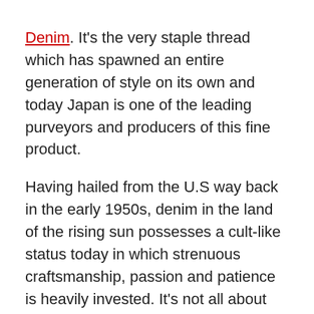Denim. It's the very staple thread which has spawned an entire generation of style on its own and today Japan is one of the leading purveyors and producers of this fine product.
Having hailed from the U.S way back in the early 1950s, denim in the land of the rising sun possesses a cult-like status today in which strenuous craftsmanship, passion and patience is heavily invested. It's not all about the material, vintage machines and techniques though.
RELATED: 5 Ways To Rock A Denim Shirt (And Look Awesome Doing It)